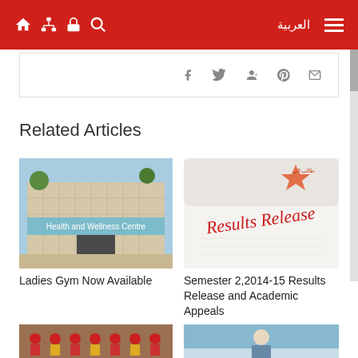Navigation bar with home, org chart, lock, search icons and Arabic text العربية and hamburger menu
[Figure (screenshot): Social sharing bar with Facebook, Twitter, Google+, Pinterest, and email icons]
Related Articles
[Figure (photo): Health and Wellness Centre building exterior photo]
Ladies Gym Now Available
[Figure (photo): Results Release paper document image]
Semester 2,2014-15 Results Release and Academic Appeals
[Figure (photo): Graduation ceremony photo showing graduates in red caps and gowns]
[Figure (photo): Student portrait photo]